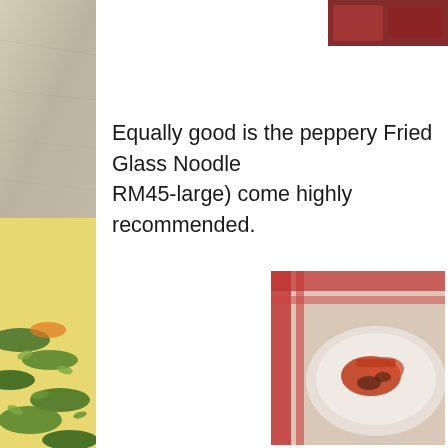[Figure (photo): Left side strip showing herbs/greens and stone surface]
[Figure (photo): Top right small photo showing food/red dish]
Equally good is the peppery Fried Glass Noodle... RM45-large) come highly recommended.
[Figure (photo): Bottom right large photo showing a bowl with red/orange food item on striped ceramic dish]